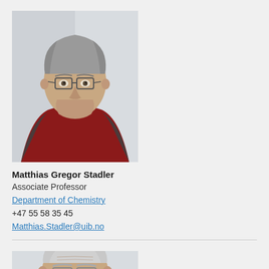[Figure (photo): Portrait photo of Matthias Gregor Stadler, a man with grey hair and glasses wearing a dark red/maroon jacket with black collar]
Matthias Gregor Stadler
Associate Professor
Department of Chemistry
+47 55 58 35 45
Matthias.Stadler@uib.no
[Figure (photo): Portrait photo of an older man with grey/white hair and glasses, partially visible (cropped at bottom of page)]